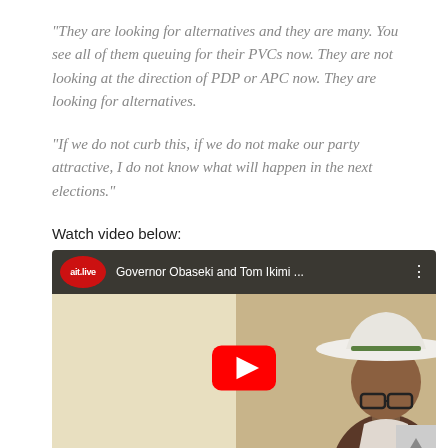“They are looking for alternatives and they are many. You see all of them queuing for their PVCs now. They are not looking at the direction of PDP or APC now. They are looking for alternatives.
“If we do not curb this, if we do not make our party attractive, I do not know what will happen in the next elections.”
Watch video below:
[Figure (screenshot): YouTube video thumbnail showing ait.live logo and title 'Governor Obaseki and Tom Ikimi ...' with a man wearing a white cowboy hat and glasses, and a red YouTube play button overlay.]